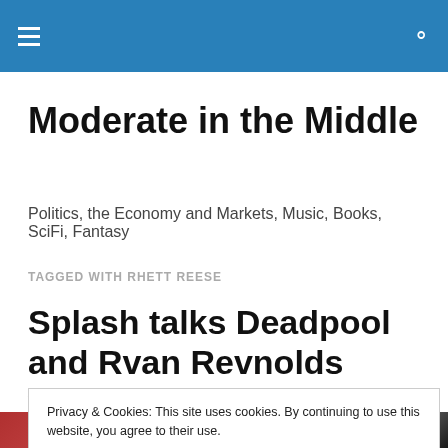Moderate in the Middle — site header bar with menu and search icons
Moderate in the Middle
Politics, the Economy and Markets, Music, Books, SciFi, Fantasy
TAGGED WITH RHETT REESE
Splash talks Deadpool and Rvan Revnolds with writers
Privacy & Cookies: This site uses cookies. By continuing to use this website, you agree to their use.
To find out more, including how to control cookies, see here: Cookie Policy
Close and accept
[Figure (photo): Photo strip at the bottom showing people, partially visible]